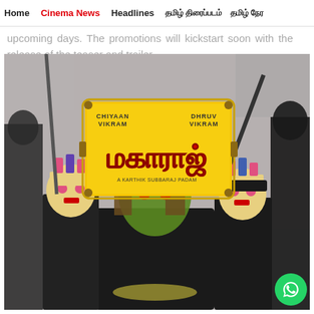Home | Cinema News | Headlines | தமிழ் திரைப்படம் | தமிழ் நேர
upcoming days. The promotions will kickstart soon with the release of the teaser and trailer.
[Figure (photo): Movie poster for 'Maharaja' (Tamil: மகாராஜ்) - A Karthik Subbaraj Film, featuring Chiyaan Vikram and Dhruv Vikram. The poster shows a man with painted face holding up his hand, surrounded by masked performers, with the Tamil title in a decorative yellow frame.]